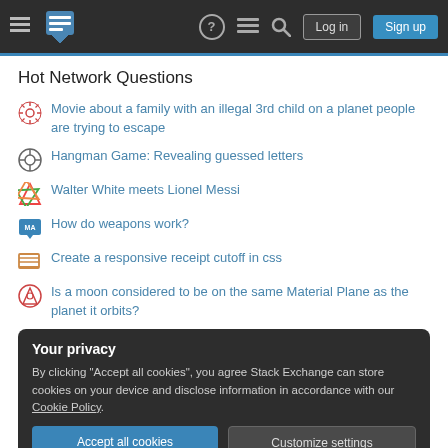Stack Exchange navigation header with Log in and Sign up buttons
Hot Network Questions
Movie about a family with an illegal 3rd child on a planet people are trying to escape
Hangman Game: Revealing guessed letters
Walter White meets Lionel Messi
How do weapons work?
Create a responsive receipt cutoff in css
Is a moon considered to be on the same Material Plane as the planet it orbits?
Your privacy
By clicking "Accept all cookies", you agree Stack Exchange can store cookies on your device and disclose information in accordance with our Cookie Policy.
Why do we need ports with IPv6?